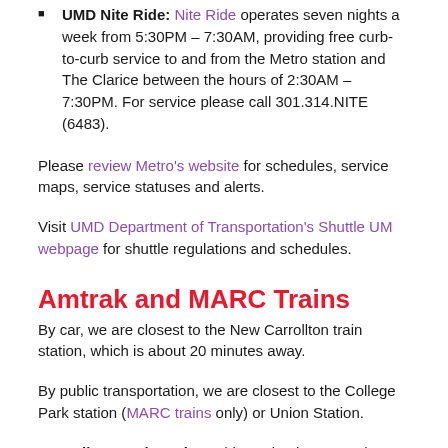UMD Nite Ride: Nite Ride operates seven nights a week from 5:30PM – 7:30AM, providing free curb-to-curb service to and from the Metro station and The Clarice between the hours of 2:30AM – 7:30PM. For service please call 301.314.NITE (6483).
Please review Metro's website for schedules, service maps, service statuses and alerts.
Visit UMD Department of Transportation's Shuttle UM webpage for shuttle regulations and schedules.
Amtrak and MARC Trains
By car, we are closest to the New Carrollton train station, which is about 20 minutes away.
By public transportation, we are closest to the College Park station (MARC trains only) or Union Station.
College Park station: This station is next to the College Park-University of Maryland Metro station.
Union Station: Take Metro's Red Line in the direction of Glenmont/Silver Spring. Transfer at the Fort Totten station and continue on the Green Line in the direction of Greenbelt,